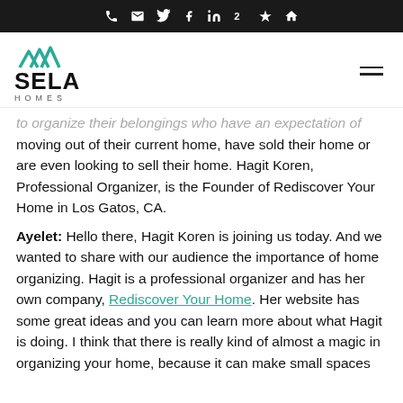[icon bar: phone, email, twitter, facebook, linkedin, houzz, yelp, home]
[Figure (logo): Sela Homes logo with teal mountain/house icon and bold SELA HOMES text]
to organize their belongings who have an expectation of moving out of their current home, have sold their home or are even looking to sell their home. Hagit Koren, Professional Organizer, is the Founder of Rediscover Your Home in Los Gatos, CA.
Ayelet:  Hello there, Hagit Koren is joining us today. And we wanted to share with our audience the importance of home organizing.  Hagit is a professional organizer and has her own company, Rediscover Your Home.  Her website has some great ideas and you can learn more about what Hagit is doing.  I think that there is really kind of almost a magic in organizing your home, because it can make small spaces